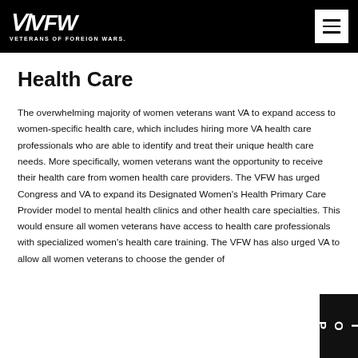VFW VETERANS OF FOREIGN WARS.
Health Care
The overwhelming majority of women veterans want VA to expand access to women-specific health care, which includes hiring more VA health care professionals who are able to identify and treat their unique health care needs. More specifically, women veterans want the opportunity to receive their health care from women health care providers. The VFW has urged Congress and VA to expand its Designated Women's Health Primary Care Provider model to mental health clinics and other health care specialties. This would ensure all women veterans have access to health care professionals with specialized women's health care training. The VFW has also urged VA to allow all women veterans to choose the gender of